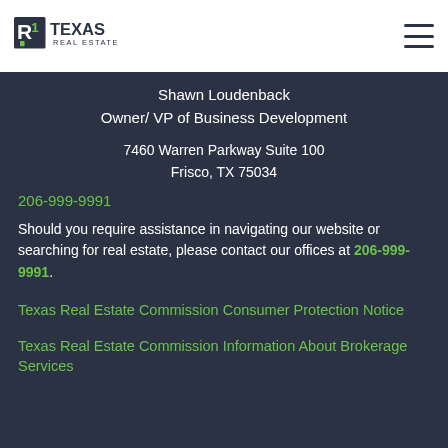Texas Real Estate [logo]
Shawn Loudenback
Owner/ VP of Business Development
7460 Warren Parkway Suite 100
Frisco, TX 75034
206-999-9991
Should you require assistance in navigating our website or searching for real estate, please contact our offices at 206-999-9991.
Texas Real Estate Commission Consumer Protection Notice
Texas Real Estate Commission Information About Brokerage Services